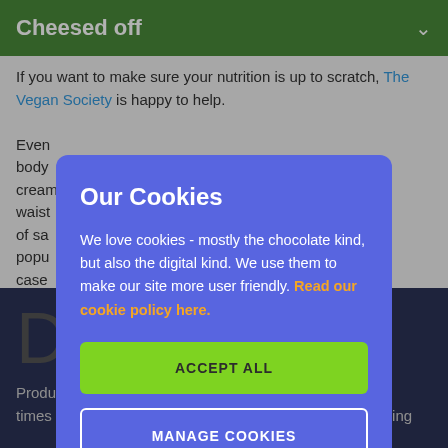Cheesed off
If you want to make sure your nutrition is up to scratch, The Vegan Society is happy to help.
Even body cream waist of sa popu case ncer.
Our Cookies
We love cookies - mostly the chocolate kind, but also the digital kind. We use them to make our site more user friendly. Read our cookie policy here.
ACCEPT ALL
MANAGE COOKIES
D
Produ times more land than producing food for a vegan, according